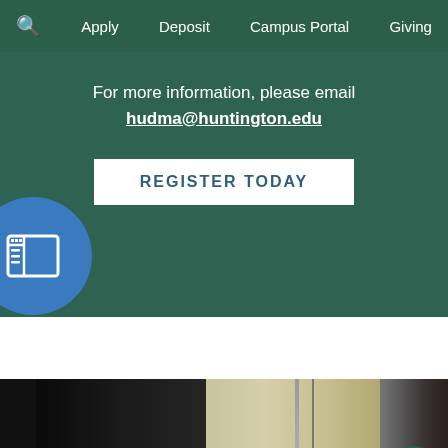🔍  Apply  Deposit  Campus Portal  Giving
For more information, please email hudma@huntington.edu
REGISTER TODAY
[Figure (screenshot): Blue circle with sidebar/window icon widget on left side]
[Figure (photo): Blurry dark photograph of a person in what appears to be a studio or classroom setting with equipment visible]
[Figure (other): Green chat bubble circle icon in bottom right corner]